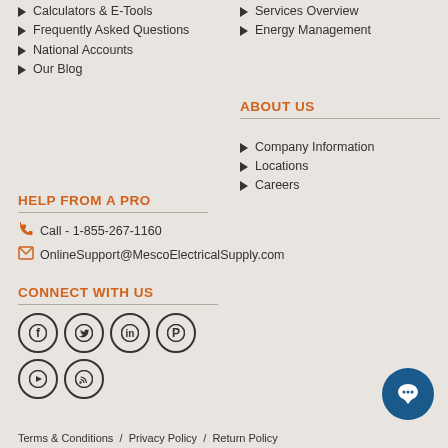Calculators & E-Tools
Frequently Asked Questions
National Accounts
Our Blog
Services Overview
Energy Management
ABOUT US
Company Information
Locations
Careers
HELP FROM A PRO
Call - 1-855-267-1160
OnlineSupport@MescoElectricalSupply.com
CONNECT WITH US
[Figure (illustration): Social media icons: Facebook, Twitter, LinkedIn, Pinterest, YouTube, RSS]
Terms & Conditions / Privacy Policy / Return Policy